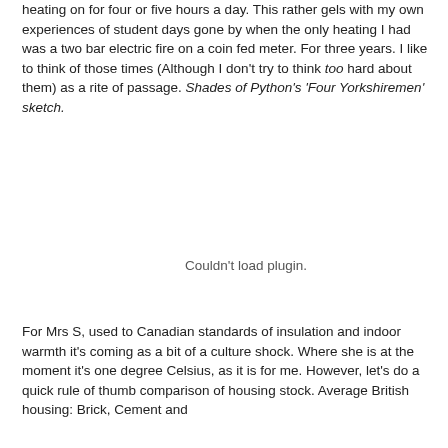heating on for four or five hours a day. This rather gels with my own experiences of student days gone by when the only heating I had was a two bar electric fire on a coin fed meter. For three years. I like to think of those times (Although I don't try to think too hard about them) as a rite of passage. Shades of Python's 'Four Yorkshiremen' sketch.
[Figure (other): Plugin embed area showing 'Couldn't load plugin.' message]
For Mrs S, used to Canadian standards of insulation and indoor warmth it's coming as a bit of a culture shock. Where she is at the moment it's one degree Celsius, as it is for me. However, let's do a quick rule of thumb comparison of housing stock. Average British housing: Brick, Cement and